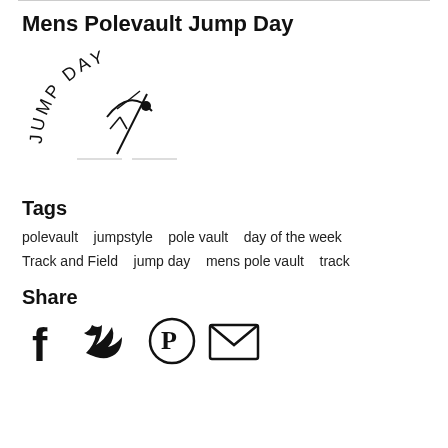Mens Polevault Jump Day
[Figure (logo): Jump Day logo: curved text 'JUMP DAY' with a pole vaulter silhouette in the center, horizontal lines below]
Tags
polevault   jumpstyle   pole vault   day of the week   Track and Field   jump day   mens pole vault   track
Share
[Figure (infographic): Social share icons: Facebook (f), Twitter (bird), Pinterest (P), Email (envelope)]